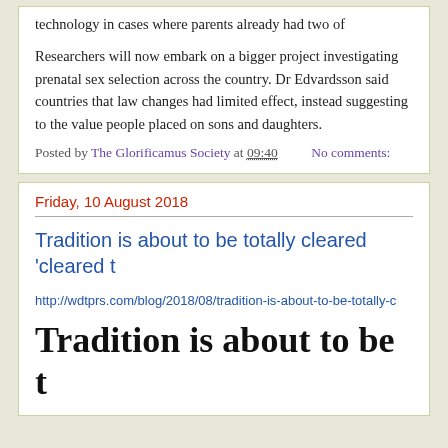technology in cases where parents already had two of
Researchers will now embark on a bigger project investigating prenatal sex selection across the country. Dr Edvardsson said countries that law changes had limited effect, instead suggesting to the value people placed on sons and daughters.
Posted by The Glorificamus Society at 09:40    No comments:
Friday, 10 August 2018
Tradition is about to be totally cleared 'cleared t
http://wdtprs.com/blog/2018/08/tradition-is-about-to-be-totally-c
Tradition is about to be t